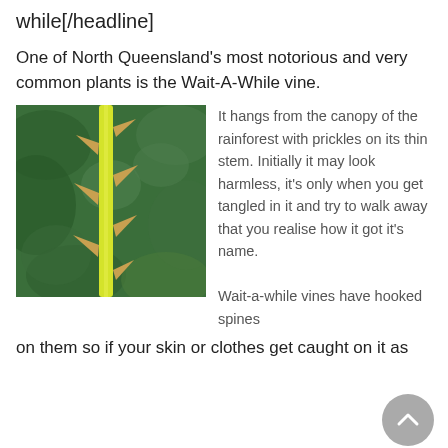while[/headline]
One of North Queensland's most notorious and very common plants is the Wait-A-While vine.
[Figure (photo): Close-up photograph of a yellow Wait-A-While vine stem with sharp orange-tipped prickles/spines against a blurred green rainforest background.]
It hangs from the canopy of the rainforest with prickles on its thin stem. Initially it may look harmless, it's only when you get tangled in it and try to walk away that you realise how it got it's name.

Wait-a-while vines have hooked spines
on them so if your skin or clothes get caught on it as